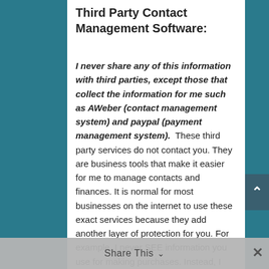Third Party Contact Management Software:
I never share any of this information with third parties, except those that collect the information for me such as AWeber (contact management system) and paypal (payment management system). These third party services do not contact you. They are business tools that make it easier for me to manage contacts and finances. It is normal for most businesses on the internet to use these exact services because they add another layer of protection for you. For example, I never SEE information you use for making purchases. Instead, I employ the use
Share This